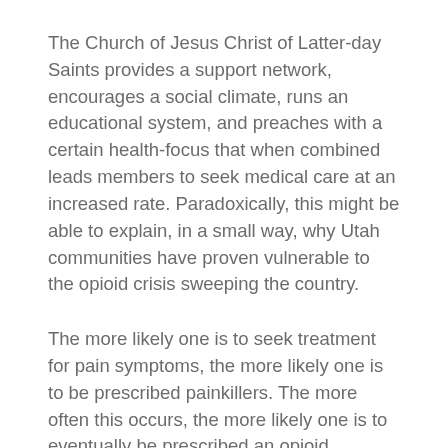The Church of Jesus Christ of Latter-day Saints provides a support network, encourages a social climate, runs an educational system, and preaches with a certain health-focus that when combined leads members to seek medical care at an increased rate. Paradoxically, this might be able to explain, in a small way, why Utah communities have proven vulnerable to the opioid crisis sweeping the country.
The more likely one is to seek treatment for pain symptoms, the more likely one is to be prescribed painkillers. The more often this occurs, the more likely one is to eventually be prescribed an opioid.
If Mormon individuals really do seek medical treatment with higher vigilance at the